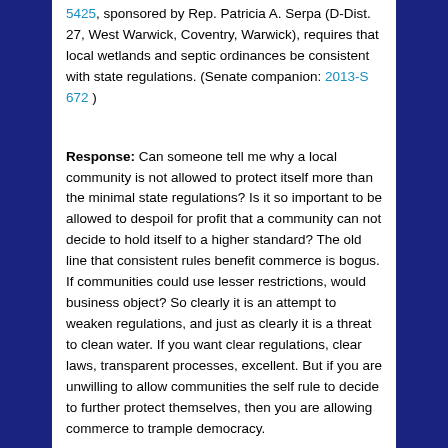5425, sponsored by Rep. Patricia A. Serpa (D-Dist. 27, West Warwick, Coventry, Warwick), requires that local wetlands and septic ordinances be consistent with state regulations. (Senate companion: 2013-S 672 )
Response: Can someone tell me why a local community is not allowed to protect itself more than the minimal state regulations? Is it so important to be allowed to despoil for profit that a community can not decide to hold itself to a higher standard? The old line that consistent rules benefit commerce is bogus. If communities could use lesser restrictions, would business object? So clearly it is an attempt to weaken regulations, and just as clearly it is a threat to clean water. If you want clear regulations, clear laws, transparent processes, excellent. But if you are unwilling to allow communities the self rule to decide to further protect themselves, then you are allowing commerce to trample democracy.